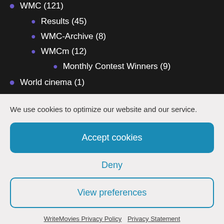WMC (121)
Results (45)
WMC-Archive (8)
WMCm (12)
Monthly Contest Winners (9)
World cinema (1)
WriteMovies Archive (10)
We use cookies to optimize our website and our service.
Accept cookies
Deny
View preferences
WriteMovies Privacy Policy   Privacy Statement